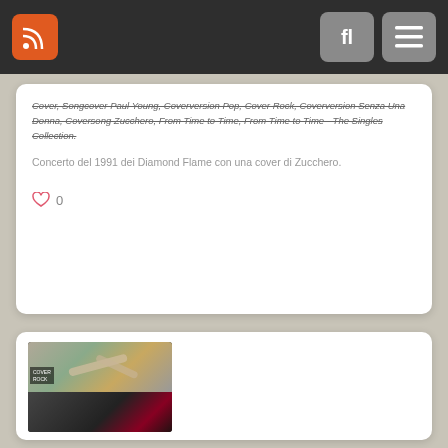RSS feed header with search and menu buttons
Cover, Songcover Paul Young, Coverversion Pop, Cover Rock, Coverversion Senza Una Donna, Coversong Zucchero, From Time to Time, From Time to Time - The Singles Collection.
Concerto del 1991 dei Diamond Flame con una cover di Zucchero.
[Figure (photo): Thumbnail image of a music video or concert, showing musicians playing instruments, split into two panels with dark overlay and red text at bottom]
Zucchero & Paul Young... 0